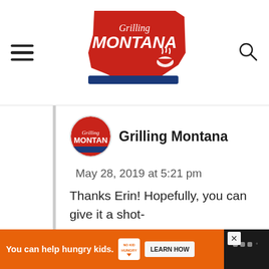Grilling Montana — site header with hamburger menu and search icon
Grilling Montana
May 28, 2019 at 5:21 pm
Thanks Erin! Hopefully, you can give it a shot-
REPLY
You can help hungry kids.  NO KID HUNGRY  LEARN HOW